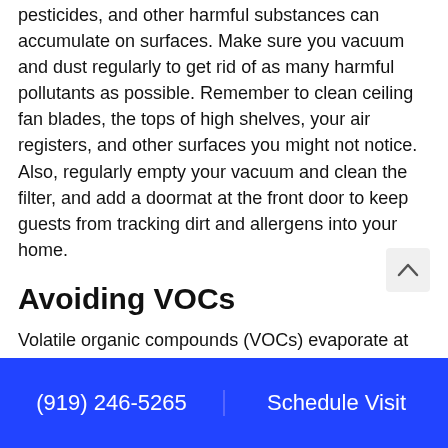pesticides, and other harmful substances can accumulate on surfaces. Make sure you vacuum and dust regularly to get rid of as many harmful pollutants as possible. Remember to clean ceiling fan blades, the tops of high shelves, your air registers, and other surfaces you might not notice. Also, regularly empty your vacuum and clean the filter, and add a doormat at the front door to keep guests from tracking dirt and allergens into your home.
Avoiding VOCs
Volatile organic compounds (VOCs) evaporate at room temperature, and they're in such common products as air fresheners, aerosol sprays, cleaners, glues, paints, permanent markers, and
(919) 246-5265   Schedule Visit